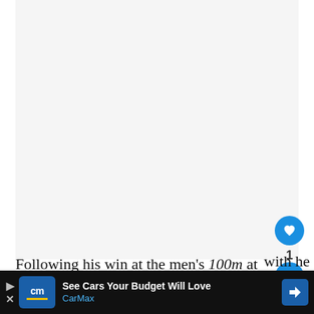[Figure (photo): Large image area (mostly blank/light gray), representing a photo or video placeholder for an article]
Following his win at the men's 100m at the World Championships in Doha, he became the sixth-fastest m... with he
[Figure (infographic): Advertisement bar at bottom: CarMax 'See Cars Your Budget Will Love' with blue logo and navigation arrow icon]